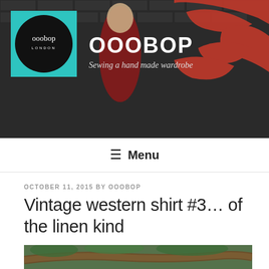[Figure (photo): Blog header banner with brick wall and graffiti background, woman in red patterned dress, teal logo box with black circle containing 'ooobop london' text, site title OOOBOP and tagline 'Sewing a hand made wardrobe' in white text]
≡ Menu
OCTOBER 11, 2015 BY OOOBOP
Vintage western shirt #3… of the linen kind
[Figure (photo): Outdoor photo showing a person holding onto a tree branch in a park/garden setting with green foliage in background]